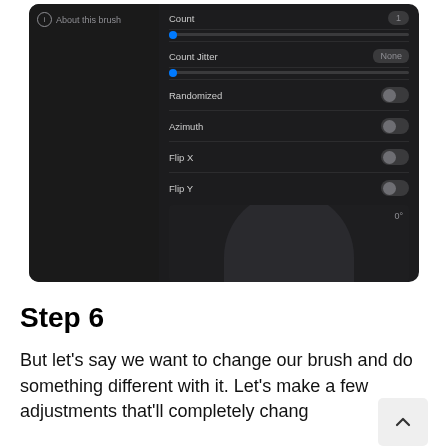[Figure (screenshot): Screenshot of a digital brush settings UI panel with dark background showing controls: 'About this brush' label, Count slider set to 1, Count Jitter set to None, Randomized toggle (off), Azimuth toggle (off), Flip X toggle (off), Flip Y toggle (off), and a circular brush preview at the bottom with a blue dot and vertical line indicator showing 0 degrees.]
Step 6
But let's say we want to change our brush and do something different with it. Let's make few adjustments that'll completely chang... a few adjustments that'll completely change...